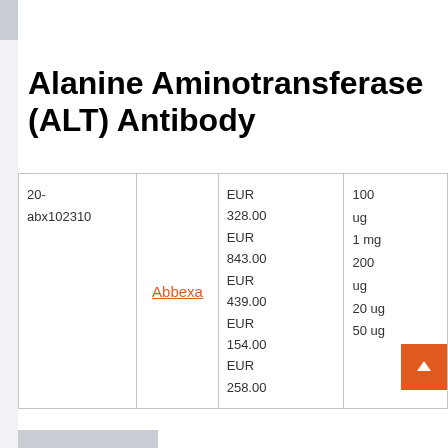Alanine Aminotransferase (ALT) Antibody
|  |  | Price | Size |
| --- | --- | --- | --- |
| 20-abx102310 | Abbexa | EUR 328.00
EUR 843.00
EUR 439.00
EUR 154.00
EUR 258.00 | 100 ug
1 mg
200 ug
20 ug
50 ug |